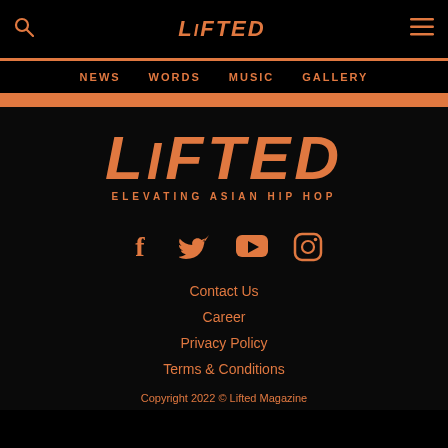LiFTED — NEWS  WORDS  MUSIC  GALLERY
[Figure (logo): LiFTED logo with tagline ELEVATING ASIAN HIP HOP in orange on black background]
[Figure (other): Social media icons row: Facebook, Twitter, YouTube, Instagram in orange]
Contact Us
Career
Privacy Policy
Terms & Conditions
Copyright 2022 © Lifted Magazine